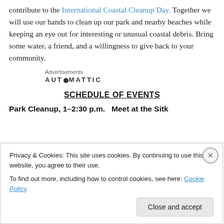contribute to the International Coastal Cleanup Day. Together we will use our hands to clean up our park and nearby beaches while keeping an eye out for interesting or unusual coastal debris. Bring some water, a friend, and a willingness to give back to your community.
Advertisements
[Figure (logo): Automattic logo text with stylized 'O']
SCHEDULE OF EVENTS
Park Cleanup, 1–2:30 p.m. — Meet at the Sitka...
Privacy & Cookies: This site uses cookies. By continuing to use this website, you agree to their use.
To find out more, including how to control cookies, see here: Cookie Policy
Close and accept